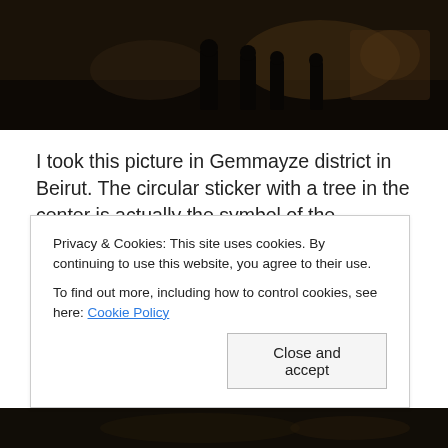[Figure (photo): Dark nighttime photograph showing silhouettes of people in a district in Beirut, cropped at top of page]
I took this picture in Gemmayze district in Beirut. The circular sticker with a tree in the center is actually the symbol of the Lebanese Forces, a militia-come-political party that represents Maronite Christians in Lebanon. A short taxi ride to the south of Beirut, near the Shatila
Privacy & Cookies: This site uses cookies. By continuing to use this website, you agree to their use.
To find out more, including how to control cookies, see here: Cookie Policy
[Figure (photo): Dark nighttime photograph at the bottom of the page, partial view]